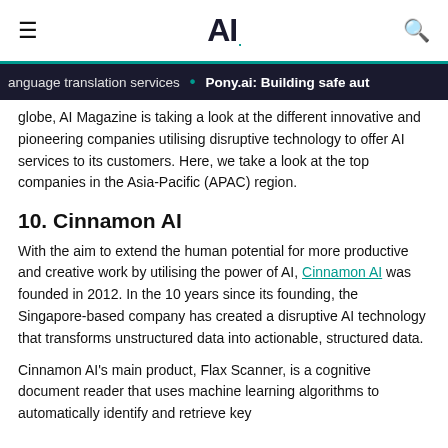AI.
anguage translation services • Pony.ai: Building safe aut
globe, AI Magazine is taking a look at the different innovative and pioneering companies utilising disruptive technology to offer AI services to its customers. Here, we take a look at the top companies in the Asia-Pacific (APAC) region.
10. Cinnamon AI
With the aim to extend the human potential for more productive and creative work by utilising the power of AI, Cinnamon AI was founded in 2012. In the 10 years since its founding, the Singapore-based company has created a disruptive AI technology that transforms unstructured data into actionable, structured data.
Cinnamon AI's main product, Flax Scanner, is a cognitive document reader that uses machine learning algorithms to automatically identify and retrieve key